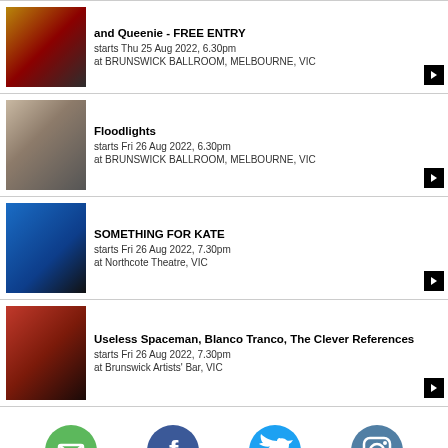[Figure (photo): Sweet Talk event poster with red and gold design, FREE ENTRY text]
and Queenie - FREE ENTRY
starts Thu 25 Aug 2022, 6.30pm
at BRUNSWICK BALLROOM, MELBOURNE, VIC
[Figure (photo): Band photo of Floodlights - group of musicians standing on dirt ground]
Floodlights
starts Fri 26 Aug 2022, 6.30pm
at BRUNSWICK BALLROOM, MELBOURNE, VIC
[Figure (photo): Band photo of Something For Kate on blue background]
SOMETHING FOR KATE
starts Fri 26 Aug 2022, 7.30pm
at Northcote Theatre, VIC
[Figure (photo): Band photo of Useless Spaceman, Blanco Tranco, The Clever References on red-lit background]
Useless Spaceman, Blanco Tranco, The Clever References
starts Fri 26 Aug 2022, 7.30pm
at Brunswick Artists' Bar, VIC
[Figure (infographic): Social media icons: email (green), Facebook (blue), Twitter (cyan), Instagram (teal)]